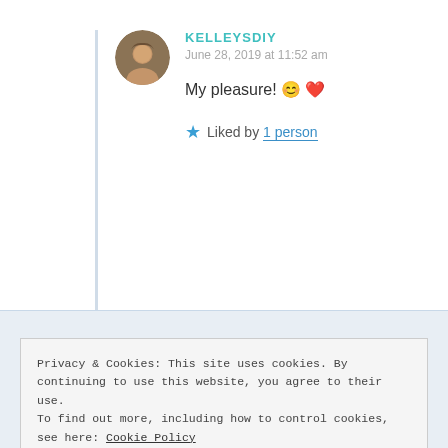KELLEYSDIY
June 28, 2019 at 11:52 am
My pleasure! 😊❤
★ Liked by 1 person
Privacy & Cookies: This site uses cookies. By continuing to use this website, you agree to their use.
To find out more, including how to control cookies, see here: Cookie Policy
Close and accept